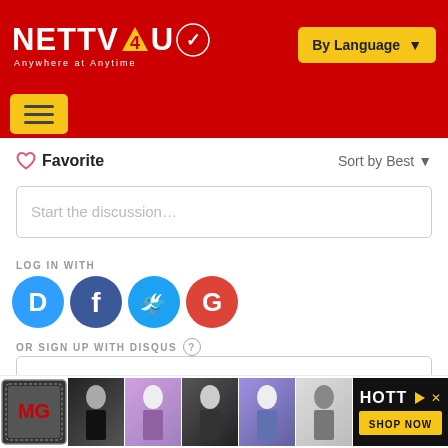[Figure (logo): NETTV4U logo with tagline 'Anywhere at Anytime' on red background, with yellow 'By Language' dropdown button]
[Figure (screenshot): Red navigation bar with yellow hamburger menu button]
♥ Favorite
Sort by Best ▼
Start the discussion…
LOG IN WITH
[Figure (illustration): Social login icons: Disqus (blue chat bubble with D), Facebook (blue circle with f), Twitter (blue circle with bird), Google (red circle with G)]
OR SIGN UP WITH DISQUS ?
Name
[Figure (photo): Fashion advertisement strip at bottom showing clothing/fashion imagery with HOTT logo and SHOP NOW button]